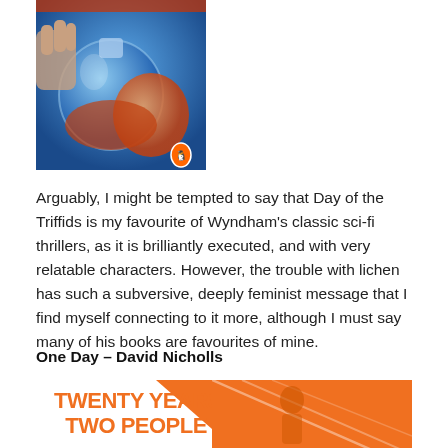[Figure (photo): Book cover of 'Day of the Triffids' — shows hands holding glass laboratory flasks containing blue and orange liquids, with a Penguin Books logo visible.]
Arguably, I might be tempted to say that Day of the Triffids is my favourite of Wyndham's classic sci-fi thrillers, as it is brilliantly executed, and with very relatable characters. However, the trouble with lichen has such a subversive, deeply feminist message that I find myself connecting to it more, although I must say many of his books are favourites of mine.
One Day – David Nicholls
[Figure (photo): Book cover of 'One Day' by David Nicholls — orange and white design with the text 'TWENTY YEARS TWO PEOPLE' in large bold orange lettering on a white background, with orange geometric/diagonal shapes on the right side.]